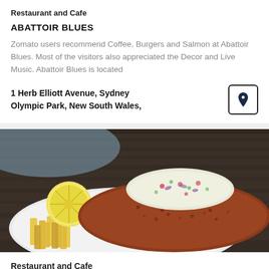Restaurant and Cafe
ABATTOIR BLUES
Zomato users recommend Coffee, Burgers and Salmon at Abattoir Blues. Most of the visitors also appreciated the Decor and Live Music. Abattoir Blues is located
1 Herb Elliott Avenue, Sydney Olympic Park, New South Wales,
[Figure (photo): Food photo showing a plate with a breaded/spiced schnitzel or fried fish, coleslaw on top, french fries, and a lemon slice, placed on a rustic wooden surface]
Restaurant and Cafe